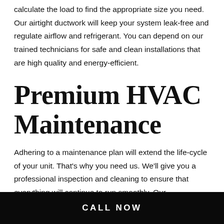calculate the load to find the appropriate size you need. Our airtight ductwork will keep your system leak-free and regulate airflow and refrigerant. You can depend on our trained technicians for safe and clean installations that are high quality and energy-efficient.
Premium HVAC Maintenance
Adhering to a maintenance plan will extend the life-cycle of your unit. That's why you need us. We'll give you a professional inspection and cleaning to ensure that everything will continue to run smoothly. Our maintenance plans include inspecting the following:
CALL NOW